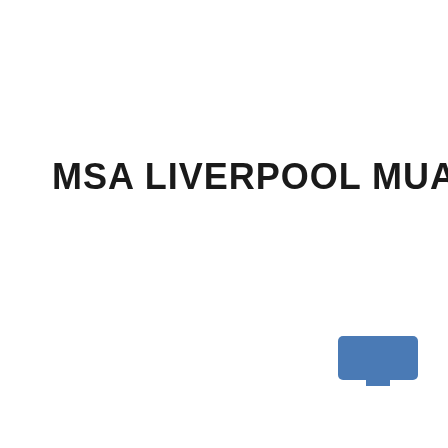MSA LIVERPOOL MUAY THAI
[Figure (other): A small blue rounded rectangle shape, resembling a monitor or screen icon, positioned in the lower-right area of the page.]